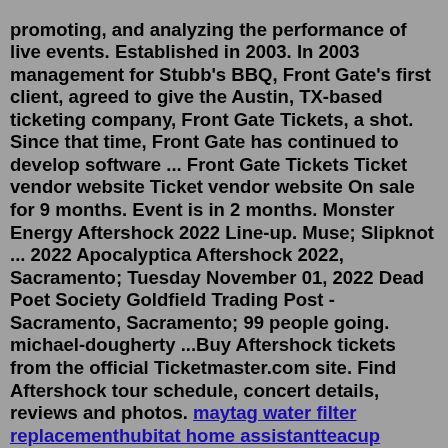promoting, and analyzing the performance of live events. Established in 2003. In 2003 management for Stubb's BBQ, Front Gate's first client, agreed to give the Austin, TX-based ticketing company, Front Gate Tickets, a shot. Since that time, Front Gate has continued to develop software ... Front Gate Tickets Ticket vendor website Ticket vendor website On sale for 9 months. Event is in 2 months. Monster Energy Aftershock 2022 Line-up. Muse; Slipknot ... 2022 Apocalyptica Aftershock 2022, Sacramento; Tuesday November 01, 2022 Dead Poet Society Goldfield Trading Post - Sacramento, Sacramento; 99 people going. michael-dougherty ...Buy Aftershock tickets from the official Ticketmaster.com site. Find Aftershock tour schedule, concert details, reviews and photos. maytag water filter replacementhubitat home assistantteacup chihuahuasjacksonville assembly of the body of christcan a felon own a pellet gun in michigan2008 dodge ram 1500 climate control light bulbsfireworks 4 july near me2 bedroom duplex for rent dentoncheer state 2021can i get away with not